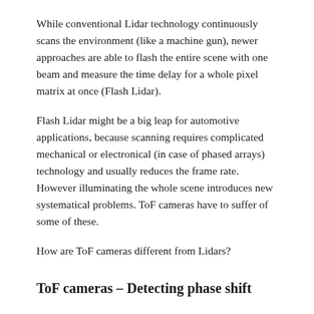While conventional Lidar technology continuously scans the environment (like a machine gun), newer approaches are able to flash the entire scene with one beam and measure the time delay for a whole pixel matrix at once (Flash Lidar).
Flash Lidar might be a big leap for automotive applications, because scanning requires complicated mechanical or electronical (in case of phased arrays) technology and usually reduces the frame rate. However illuminating the whole scene introduces new systematical problems. ToF cameras have to suffer of some of these.
How are ToF cameras different from Lidars?
ToF cameras – Detecting phase shift